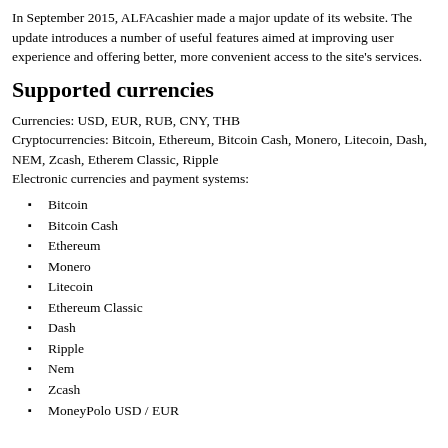In September 2015, ALFAcashier made a major update of its website. The update introduces a number of useful features aimed at improving user experience and offering better, more convenient access to the site's services.
Supported currencies
Currencies: USD, EUR, RUB, CNY, THB
Cryptocurrencies: Bitcoin, Ethereum, Bitcoin Cash, Monero, Litecoin, Dash, NEM, Zcash, Etherem Classic, Ripple
Electronic currencies and payment systems:
Bitcoin
Bitcoin Cash
Ethereum
Monero
Litecoin
Ethereum Classic
Dash
Ripple
Nem
Zcash
MoneyPolo USD / EUR